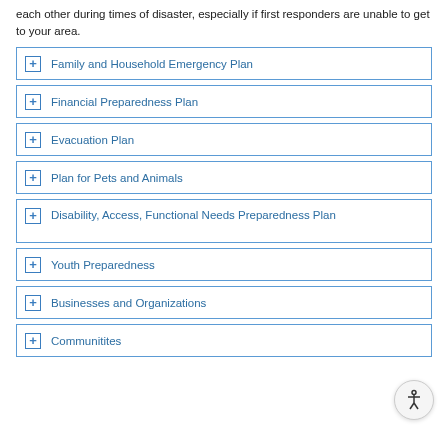each other during times of disaster, especially if first responders are unable to get to your area.
Family and Household Emergency Plan
Financial Preparedness Plan
Evacuation Plan
Plan for Pets and Animals
Disability, Access, Functional Needs Preparedness Plan
Youth Preparedness
Businesses and Organizations
Communitites